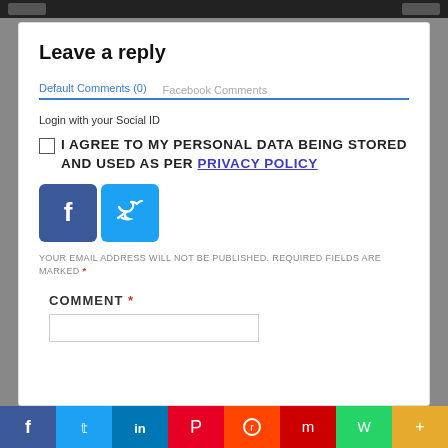Leave a reply
Default Comments (0)   Facebook Comments
Login with your Social ID
I AGREE TO MY PERSONAL DATA BEING STORED AND USED AS PER PRIVACY POLICY
[Figure (other): Facebook and Twitter social login icon buttons]
YOUR EMAIL ADDRESS WILL NOT BE PUBLISHED. REQUIRED FIELDS ARE MARKED *
COMMENT *
[Figure (other): Social share bar at bottom: Facebook, Twitter, LinkedIn, Pinterest, Reddit, Mix, WhatsApp, More]